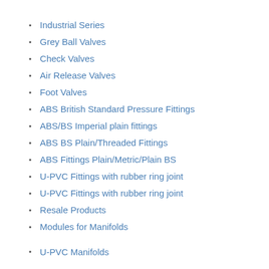Industrial Series
Grey Ball Valves
Check Valves
Air Release Valves
Foot Valves
ABS British Standard Pressure Fittings
ABS/BS Imperial plain fittings
ABS BS Plain/Threaded Fittings
ABS Fittings Plain/Metric/Plain BS
U-PVC Fittings with rubber ring joint
U-PVC Fittings with rubber ring joint
Resale Products
Modules for Manifolds
U-PVC Manifolds